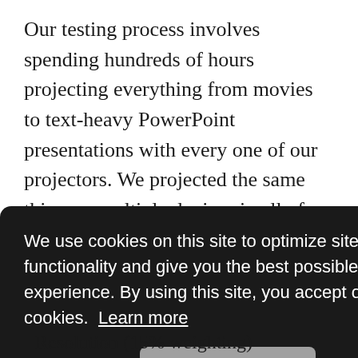Our testing process involves spending hundreds of hours projecting everything from movies to text-heavy PowerPoint presentations with every one of our projectors. We projected the same thing on multiple devices in all of our image tests, side-by-side in the same room. This design ensures that both lighting and projection conditions are entirely controlled. We also pushed them to the max by forcing them to project a bright white screen for extended periods, allowing us to take accurate brightness measurements and see how loud the fans
We use cookies on this site to optimize site functionality and give you the best possible experience. By using this site, you accept our use of cookies.  Learn more
Got it!
Resolution (15% weighting)